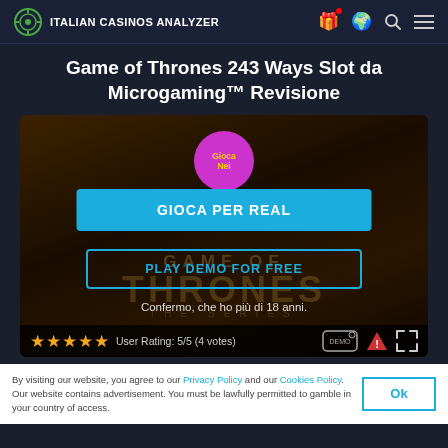ITALIAN CASINOS ANALYZER
Game of Thrones 243 Ways Slot da Microgaming™ Revisione
[Figure (screenshot): Game of Thrones slot game interface showing a purple circle button 'Gioca Nei', a blue 'GIOCA PER REAL' button, an outlined 'PLAY DEMO FOR FREE' button, confirmation text 'Confermo, che ho più di 18 anni.', and a rating bar with 5 gold stars and 'User Rating: 5/5 (4 votes)']
By visiting our website, you agree to our Privacy Policy and our Cookies Policy. Our website contains advertisement. You must be lawfully permitted to gamble in your country of access.